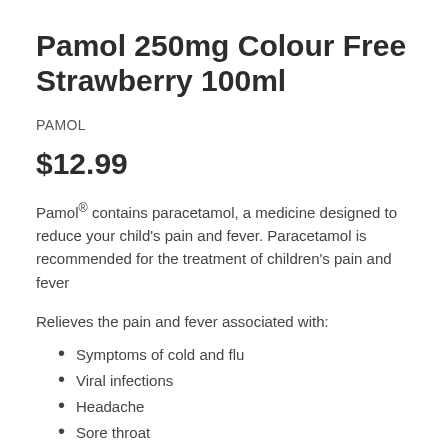Pamol 250mg Colour Free Strawberry 100ml
PAMOL
$12.99
Pamol® contains paracetamol, a medicine designed to reduce your child's pain and fever. Paracetamol is recommended for the treatment of children's pain and fever
Relieves the pain and fever associated with:
Symptoms of cold and flu
Viral infections
Headache
Sore throat